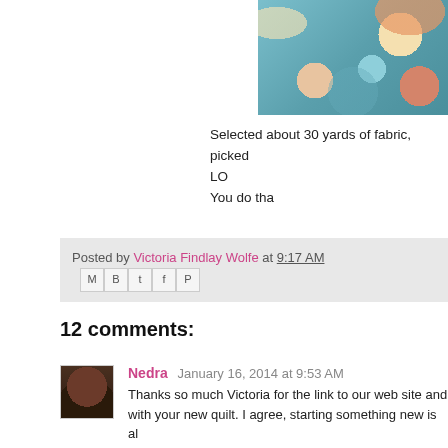[Figure (photo): Close-up photo of colorful quilting fabric rolls and patterns on a blue/teal dotted background]
Selected about 30 yards of fabric, picked LOL You do tha
Posted by Victoria Findlay Wolfe at 9:17 AM
12 comments:
Nedra January 16, 2014 at 9:53 AM
Thanks so much Victoria for the link to our web site and with your new quilt. I agree, starting something new is al
Reply